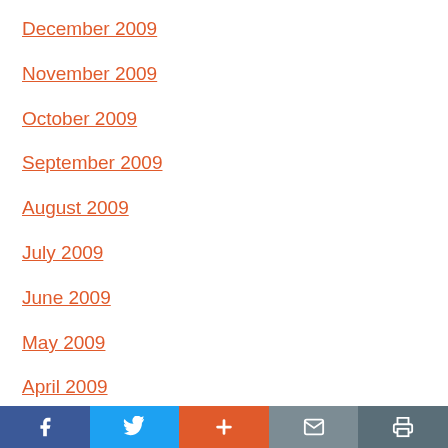December 2009
November 2009
October 2009
September 2009
August 2009
July 2009
June 2009
May 2009
April 2009
Social share bar with Facebook, Twitter, Plus, Email, Print buttons